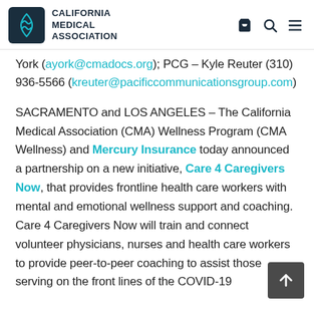California Medical Association
York (ayork@cmadocs.org); PCG – Kyle Reuter (310) 936-5566 (kreuter@pacificcommunicationsgroup.com)
SACRAMENTO and LOS ANGELES – The California Medical Association (CMA) Wellness Program (CMA Wellness) and Mercury Insurance today announced a partnership on a new initiative, Care 4 Caregivers Now, that provides frontline health care workers with mental and emotional wellness support and coaching. Care 4 Caregivers Now will train and connect volunteer physicians, nurses and health care workers to provide peer-to-peer coaching to assist those serving on the front lines of the COVID-19